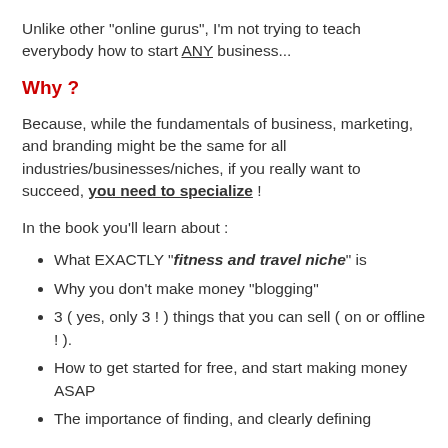Unlike other "online gurus", I'm not trying to teach everybody how to start ANY business...
Why ?
Because, while the fundamentals of business, marketing, and branding might be the same for all industries/businesses/niches, if you really want to succeed, you need to specialize !
In the book you'll learn about :
What EXACTLY "fitness and travel niche" is
Why you don't make money "blogging"
3 ( yes, only 3 ! ) things that you can sell ( on or offline ! ).
How to get started for free, and start making money ASAP
The importance of finding, and clearly defining